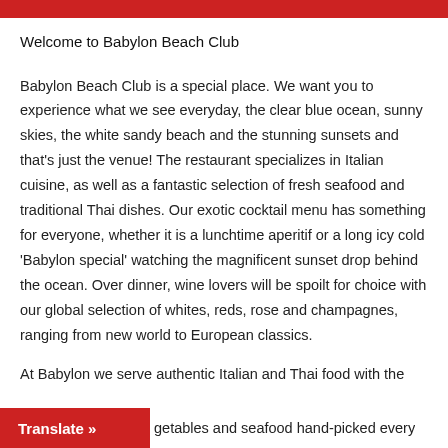Welcome to Babylon Beach Club
Babylon Beach Club is a special place. We want you to experience what we see everyday, the clear blue ocean, sunny skies, the white sandy beach and the stunning sunsets and that's just the venue! The restaurant specializes in Italian cuisine, as well as a fantastic selection of fresh seafood and traditional Thai dishes. Our exotic cocktail menu has something for everyone, whether it is a lunchtime aperitif or a long icy cold 'Babylon special' watching the magnificent sunset drop behind the ocean. Over dinner, wine lovers will be spoilt for choice with our global selection of whites, reds, rose and champagnes, ranging from new world to European classics.
At Babylon we serve authentic Italian and Thai food with the …getables and seafood hand-picked every